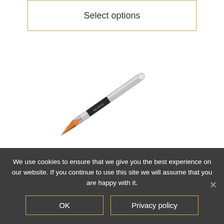Select options
[Figure (photo): A makeup or nail art brush with a silver metallic handle and dark grip band labeled 'BELMACIL', with a pointed orange/amber bristle tip, shown diagonally.]
We use cookies to ensure that we give you the best experience on our website. If you continue to use this site we will assume that you are happy with it.
OK
Privacy policy